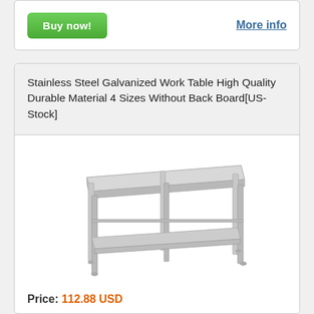Buy now!
More info
Stainless Steel Galvanized Work Table High Quality Durable Material 4 Sizes Without Back Board[US-Stock]
[Figure (photo): A stainless steel galvanized work table with a lower shelf, seen from a slight angle, on a white background.]
Price: 112.88 USD